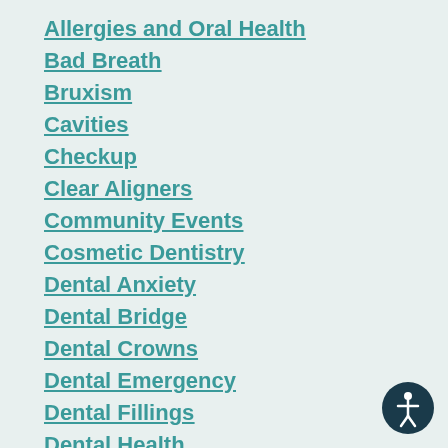Allergies and Oral Health
Bad Breath
Bruxism
Cavities
Checkup
Clear Aligners
Community Events
Cosmetic Dentistry
Dental Anxiety
Dental Bridge
Dental Crowns
Dental Emergency
Dental Fillings
Dental Health
Dental Hygiene
Dental Implants
[Figure (illustration): Accessibility icon — circular dark teal badge with a person figure (accessibility symbol) in white]